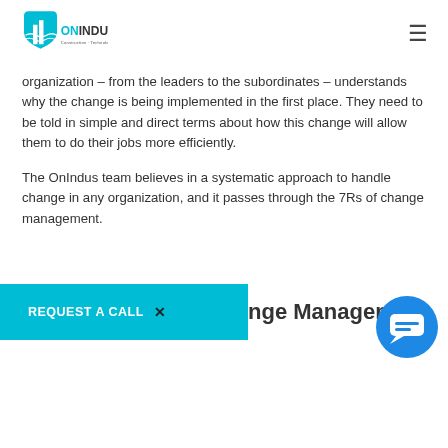ONINDUS Construction · Technology · People
organization – from the leaders to the subordinates – understands why the change is being implemented in the first place. They need to be told in simple and direct terms about how this change will allow them to do their jobs more efficiently.
The OnIndus team believes in a systematic approach to handle change in any organization, and it passes through the 7Rs of change management.
REQUEST A CALL ✕ nge Management